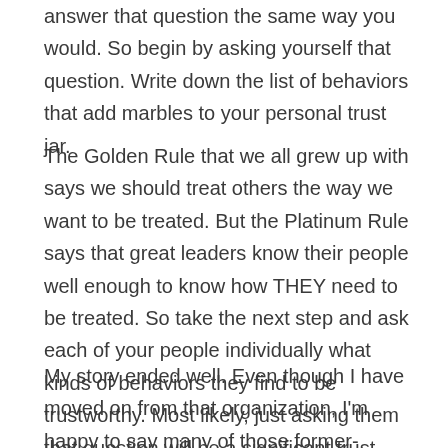answer that question the same way you would. So begin by asking yourself that question. Write down the list of behaviors that add marbles to your personal trust jar.
The Golden Rule that we all grew up with says we should treat others the way we want to be treated. But the Platinum Rule says that great leaders know their people well enough to know how THEY need to be treated. So take the next step and ask each of your people individually what kinds of behaviors they find to be trustworthy. Most likely, just asking them that question will be a significant trust deposit of its own.
My story ended well. Even though I have moved on from that organization, I'm happy to say many of those former-employees are still my dear, trusted friends today.